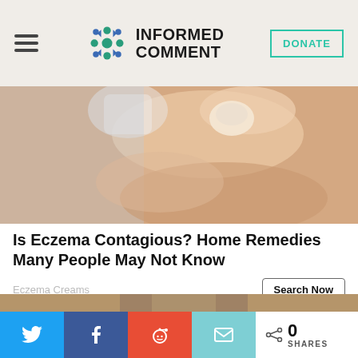INFORMED COMMENT
[Figure (photo): Close-up photo of a hand/fingers touching a white surface, skin condition context]
Is Eczema Contagious? Home Remedies Many People May Not Know
Eczema Creams
Search Now
[Figure (photo): Outdoor wall-mounted lantern light fixture with a bulb inside, mounted on a textured stucco wall]
0 SHARES